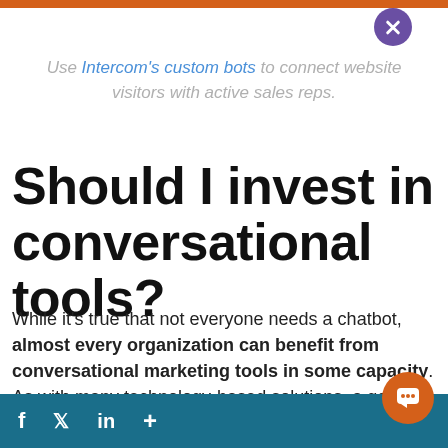Use Intercom's custom bots to connect website visitors with active sales reps.
Should I invest in conversational tools?
While it's true that not everyone needs a chatbot, almost every organization can benefit from conversational marketing tools in some capacity. As with many technology-based solutions, a good plan is to start with...
f  𝕏  in  +